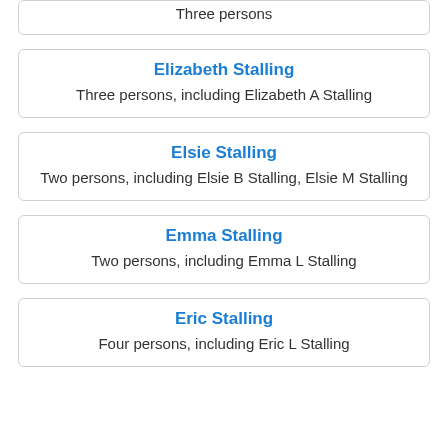Three persons
Elizabeth Stalling
Three persons, including Elizabeth A Stalling
Elsie Stalling
Two persons, including Elsie B Stalling, Elsie M Stalling
Emma Stalling
Two persons, including Emma L Stalling
Eric Stalling
Four persons, including Eric L Stalling